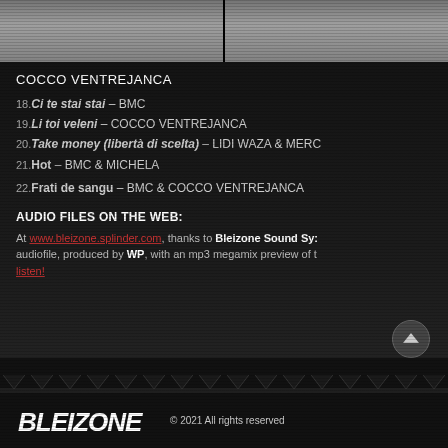[Figure (photo): Two cropped photos side by side at the top of the page, showing people wearing white/red clothing against dark background]
COCCO VENTREJANCA
18. Ci te stai stai – BMC
19. Li toi veleni – COCCO VENTREJANCA
20. Take money (libertà di scelta) – LIDI WAZA & MERC
21. Hot – BMC & MICHELA
22. Frati de sangu – BMC & COCCO VENTREJANCA
AUDIO FILES ON THE WEB:
At www.bleizone.splinder.com, thanks to Bleizone Sound Sy: audiofile, produced by WP, with an mp3 megamix preview of t listen!
© 2021 All rights reserved